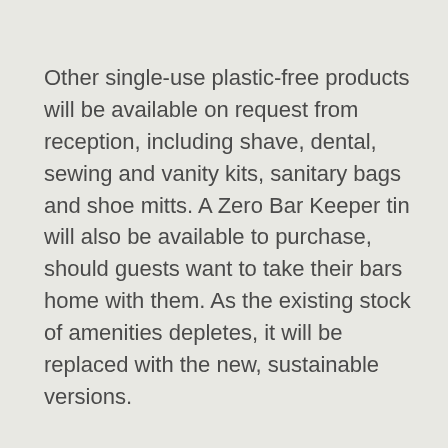Other single-use plastic-free products will be available on request from reception, including shave, dental, sewing and vanity kits, sanitary bags and shoe mitts. A Zero Bar Keeper tin will also be available to purchase, should guests want to take their bars home with them. As the existing stock of amenities depletes, it will be replaced with the new, sustainable versions.